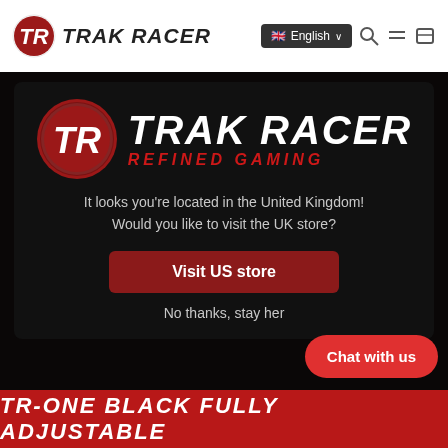TRAK RACER | English
[Figure (logo): Trak Racer logo with TR emblem and brand name, with REFINED GAMING subtitle in red italic]
It looks you're located in the United Kingdom! Would you like to visit the UK store?
Visit US store
No thanks, stay her...
Chat with us
TR-ONE BLACK FULLY ADJUSTABLE